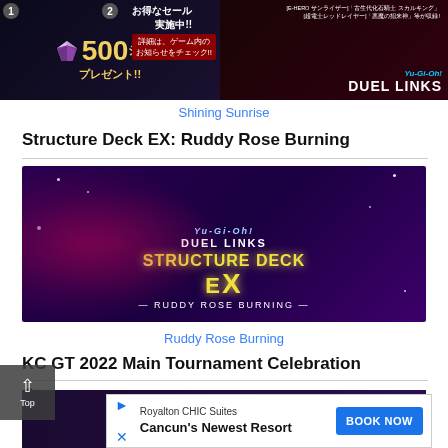[Figure (screenshot): Yu-Gi-Oh Duel Links promotional banner showing 500 gems sale and card pack advertisement with Japanese text]
Shining Sunrise
Structure Deck EX: Ruddy Rose Burning
[Figure (screenshot): Yu-Gi-Oh Duel Links Structure Deck EX Ruddy Rose Burning banner with dragon artwork on purple background]
Ruddy Rose Burning
KC GT 2022 Main Tournament Celebration
Camp
[Figure (screenshot): Royalton CHIC Suites Cancun advertisement overlay with Book Now button]